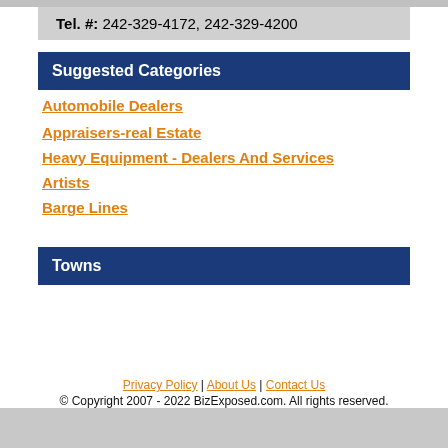Tel. #: 242-329-4172, 242-329-4200
Suggested Categories
Automobile Dealers
Appraisers-real Estate
Heavy Equipment - Dealers And Services
Artists
Barge Lines
Towns
Privacy Policy | About Us | Contact Us
© Copyright 2007 - 2022 BizExposed.com. All rights reserved.